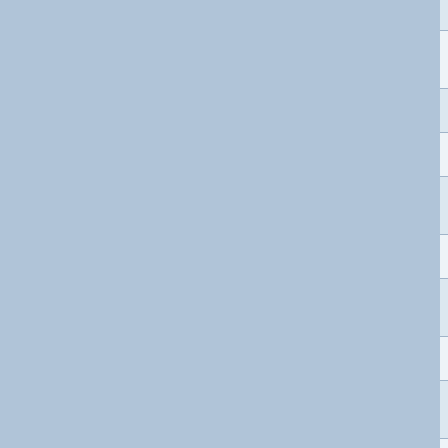| # | Name | Team |
| --- | --- | --- |
| 53 | ANTONIO | G.S.ATELLA... |
| 54 | CATAVEI ALEXANDRU | ITALIA NUOVA BORGO |
| 55 | CORBETTA RAFFAELE | CANTURINO |
| 56 | OLIVIERI LUCA | CASTANESE |
| 57 | STACCHIOTTI RICCARDO | ESINPLAST S. GIAMMY TEA... |
| 58 | MAESTRI MIRCO | A.S. TEAM A... |
| 59 | NOSOTTI MIRKO | G.S. MASSI SUPERMERO... |
| 60 | PEREGO STEFANO | S.C. ROMAN... |
| 61 | PAOLI LORIS | A.S. LIQUIGA... ROSSO |
| 62 | FRANZONI MATTIA | A.S.D. ASPIR... OTELLI-CAS. |
| 63 | MENGARDO GIANLUCA | TEAM LA TO... |
| 64 | GIAMPAOLO MORENO | ASD EURO90... CICLSITICO... |
| 65 | ZHUPA EUGERT | A.S.D. CYCL... NIAL NIZZOL. |
| 66 | ORRICO DAVIDE | CANTURINO |
| 67 | ... | A.S.D. A... |